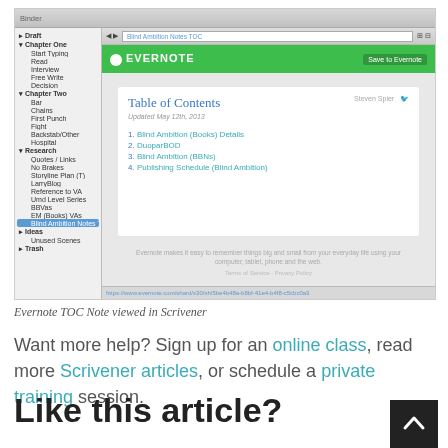[Figure (screenshot): Screenshot of Evernote TOC Note viewed inside Scrivener. The left panel shows Scrivener's binder with a tree of items including Draft, Chapter One, Research folders. The right panel shows a browser-like view of an Evernote note titled 'Table of Contents' with four linked items: 1. Blind Ambition (Books) Details, 2. DuoparBOD, 3. Blind Ambition (BBNs), 4. Publishing Schedule (Blind Ambition). The Evernote header is green with white EVERNOTE logo and a Save to Evernote button.]
Evernote TOC Note viewed in Scrivener
Want more help? Sign up for an online class, read more Scrivener articles, or schedule a private training session.
Like this article?